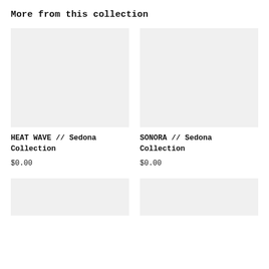More from this collection
[Figure (photo): Product image placeholder for HEAT WAVE // Sedona Collection]
HEAT WAVE // Sedona Collection
$0.00
[Figure (photo): Product image placeholder for SONORA // Sedona Collection]
SONORA // Sedona Collection
$0.00
[Figure (photo): Product image placeholder bottom left]
[Figure (photo): Product image placeholder bottom right]